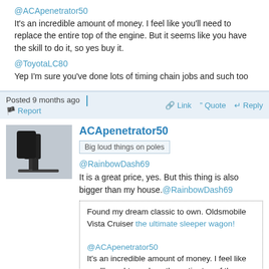@ACApenetrator50
It's an incredible amount of money. I feel like you'll need to replace the entire top of the engine. But it seems like you have the skill to do it, so yes buy it.
@ToyotaLC80
Yep I'm sure you've done lots of timing chain jobs and such too
Posted 9 months ago   Report   Link   Quote   Reply
ACApenetrator50
Big loud things on poles
@RainbowDash69
It is a great price, yes. But this thing is also bigger than my house.@RainbowDash69
Found my dream classic to own. Oldsmobile Vista Cruiser the ultimate sleeper wagon!
@ACApenetrator50
It's an incredible amount of money. I feel like you'll need to replace the entire top of the engine. But it seems like you have the skill to do it, so yes buy it.